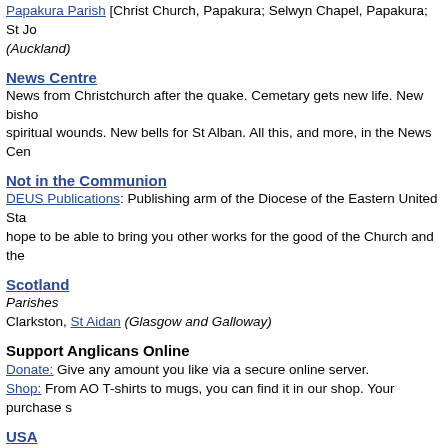Papakura Parish [Christ Church, Papakura; Selwyn Chapel, Papakura; St Jo (Auckland)
News Centre
News from Christchurch after the quake. Cemetary gets new life. New bisho spiritual wounds. New bells for St Alban. All this, and more, in the News Cen
Not in the Communion
DEUS Publications: Publishing arm of the Diocese of the Eastern United Sta hope to be able to bring you other works for the good of the Church and the
Scotland
Parishes
Clarkston, St Aidan (Glasgow and Galloway)
Support Anglicans Online
Donate: Give any amount you like via a secure online server.
Shop: From AO T-shirts to mugs, you can find it in our shop. Your purchase s
USA
Parishes
Florida: Stuart, St Monica (Southeast Florida)
Illinois: Morrison, St Anne (Chicago)
Missouri: Chillicothe, Grace Church (West Missouri)
Missouri: Harrisonville, St Peter (West Missouri)
Missouri: Lee's Summit, St Anne (West Missouri)
Missouri: Neosho, St John (West Missouri)
Missouri: St Joseph, Christ Church (West Missouri)
World